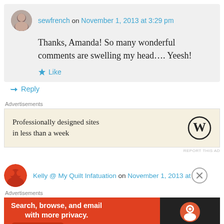sewfrench on November 1, 2013 at 3:29 pm
Thanks, Amanda! So many wonderful comments are swelling my head…. Yeesh!
Like
Reply
Advertisements
[Figure (infographic): WordPress advertisement: Professionally designed sites in less than a week, with WordPress logo]
REPORT THIS AD
Kelly @ My Quilt Infatuation on November 1, 2013 at
Advertisements
[Figure (infographic): DuckDuckGo advertisement: Search, browse, and email with more privacy. All in One Free App]
REPORT THIS AD